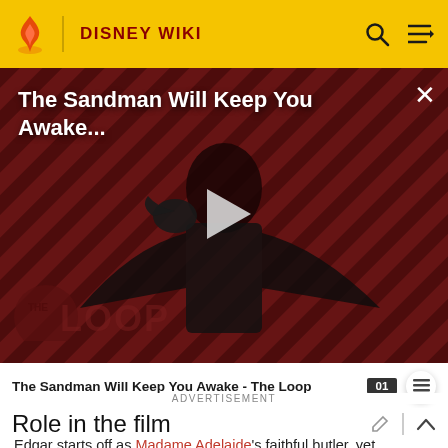DISNEY WIKI
[Figure (screenshot): Video thumbnail for 'The Sandman Will Keep You Awake...' showing a figure in dark clothing against a red and black diagonal stripe background with a play button overlay and THE LOOP logo badge]
The Sandman Will Keep You Awake - The Loop
ADVERTISEMENT
Role in the film
Edgar starts off as Madame Adelaide's faithful butler, yet